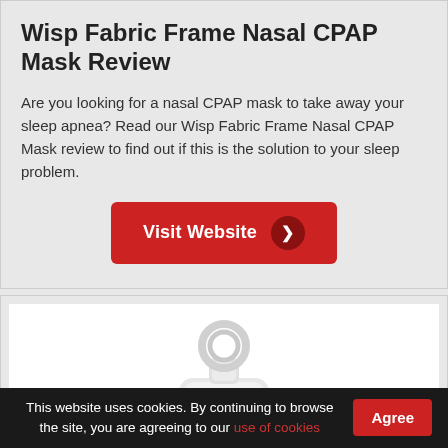Wisp Fabric Frame Nasal CPAP Mask Review
Are you looking for a nasal CPAP mask to take away your sleep apnea? Read our Wisp Fabric Frame Nasal CPAP Mask review to find out if this is the solution to your sleep problem.
[Figure (other): Red 'Visit Website' button with dark red circle arrow icon]
[Figure (photo): Photo of Wisp Fabric Frame Nasal CPAP Mask — white device with circular headgear connector on top]
This website uses cookies. By continuing to browse the site, you are agreeing to our use of cookies
Agree